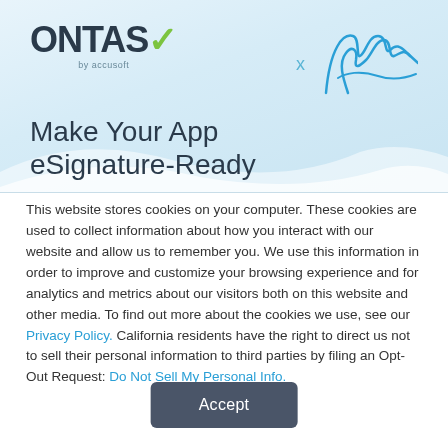[Figure (logo): OnTask by Accusoft logo with a green checkmark on the letter K, and a blue cursive signature with an X to its left on a light blue gradient background, with the heading 'Make Your App eSignature-Ready']
This website stores cookies on your computer. These cookies are used to collect information about how you interact with our website and allow us to remember you. We use this information in order to improve and customize your browsing experience and for analytics and metrics about our visitors both on this website and other media. To find out more about the cookies we use, see our Privacy Policy. California residents have the right to direct us not to sell their personal information to third parties by filing an Opt-Out Request: Do Not Sell My Personal Info.
Accept